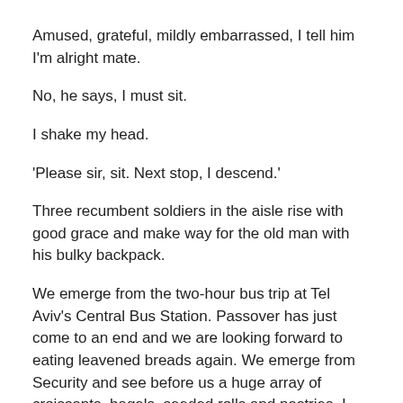Amused, grateful, mildly embarrassed, I tell him I'm alright mate.
No, he says, I must sit.
I shake my head.
'Please sir, sit. Next stop, I descend.'
Three recumbent soldiers in the aisle rise with good grace and make way for the old man with his bulky backpack.
We emerge from the two-hour bus trip at Tel Aviv's Central Bus Station. Passover has just come to an end and we are looking forward to eating leavened breads again. We emerge from Security and see before us a huge array of croissants, bagels, seeded rolls and pastries. I take the